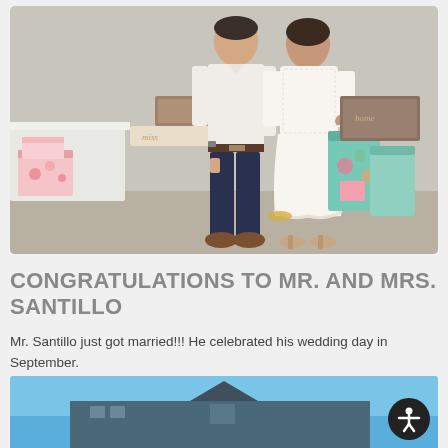[Figure (photo): A couple standing together at what appears to be a bridal shower or wedding reception. The man is wearing a white shirt and dark navy pants with brown shoes. The woman is wearing a white lace dress with heels. Behind them are gift bags, wrapped presents, and white tablecloths.]
CONGRATULATIONS TO MR. AND MRS. SANTILLO
Mr. Santillo just got married!!! He celebrated his wedding day in September.
[Figure (photo): Partial view of a building against a blue sky, cropped at the bottom of the page.]